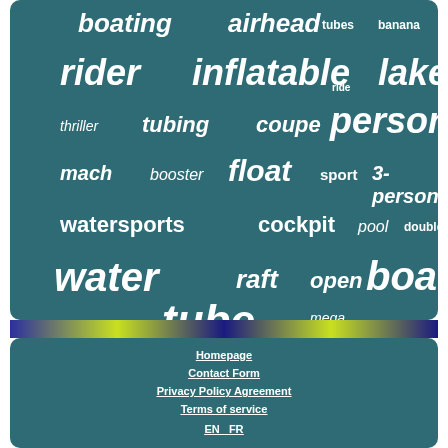[Figure (infographic): Word cloud on dark teal background featuring water sports related terms in various sizes: boating, airhead, tubes, banana, rider, inflatable, lake, ride, thriller, tubing, coupe, person, mach, booster, float, sport, 3-person, watersports, cockpit, pool, double, water, raft, open, boat, tube, mega]
[Figure (photo): Colorful image strip showing inflatable tubes]
Homepage
Contact Form
Privacy Policy Agreement
Terms of service
EN   FR